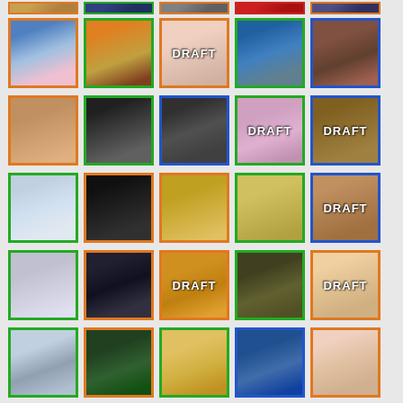[Figure (illustration): Grid of anime/game character figurine thumbnails, some marked DRAFT, arranged in 6 rows of 5 images each with colored borders (orange, green, blue, red)]